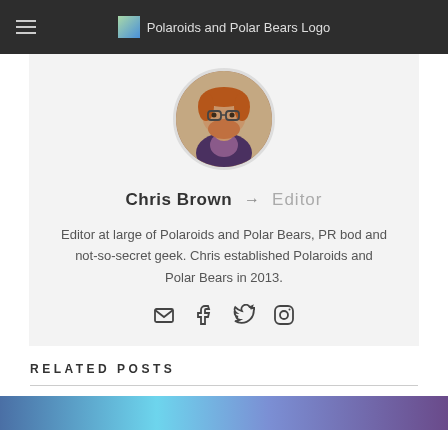Polaroids and Polar Bears Logo
[Figure (photo): Circular profile photo of Chris Brown, a man with glasses and a red beard]
Chris Brown → Editor
Editor at large of Polaroids and Polar Bears, PR bod and not-so-secret geek. Chris established Polaroids and Polar Bears in 2013.
[Figure (infographic): Social media icons: email, Facebook, Twitter, Instagram]
RELATED POSTS
[Figure (photo): Partial bottom image strip with blue/purple tones]